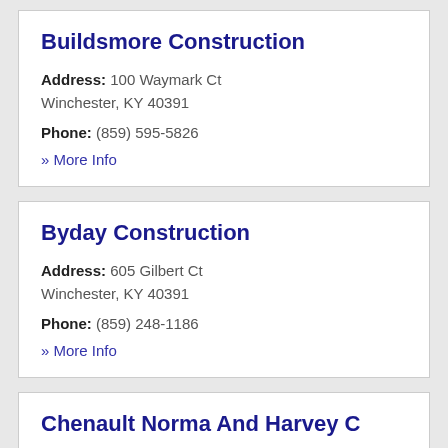Buildsmore Construction
Address: 100 Waymark Ct Winchester, KY 40391
Phone: (859) 595-5826
» More Info
Byday Construction
Address: 605 Gilbert Ct Winchester, KY 40391
Phone: (859) 248-1186
» More Info
Chenault Norma And Harvey C